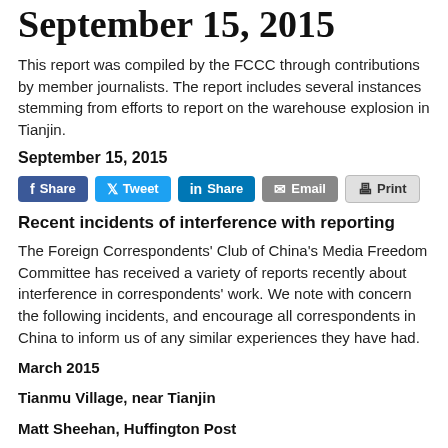September 15, 2015
This report was compiled by the FCCC through contributions by member journalists. The report includes several instances stemming from efforts to report on the warehouse explosion in Tianjin.
September 15, 2015
[Figure (other): Social share buttons: Facebook Share, Twitter Tweet, LinkedIn Share, Email, Print]
Recent incidents of interference with reporting
The Foreign Correspondents' Club of China's Media Freedom Committee has received a variety of reports recently about interference in correspondents' work. We note with concern the following incidents, and encourage all correspondents in China to inform us of any similar experiences they have had.
March 2015
Tianmu Village, near Tianjin
Matt Sheehan, Huffington Post